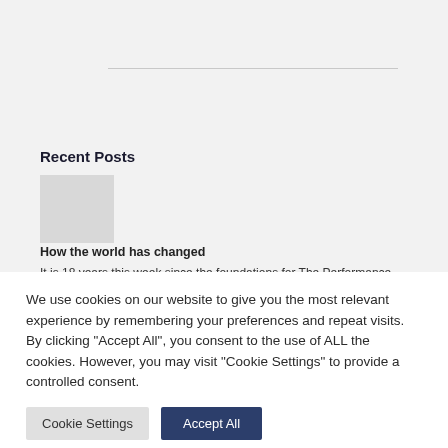Recent Posts
How the world has changed
It is 18 years this week since the foundations for The Performance Solution were laid by Sally Vanson and initially three business partners. We had big ideas – perhaps too …Read More »
We use cookies on our website to give you the most relevant experience by remembering your preferences and repeat visits. By clicking "Accept All", you consent to the use of ALL the cookies. However, you may visit "Cookie Settings" to provide a controlled consent.